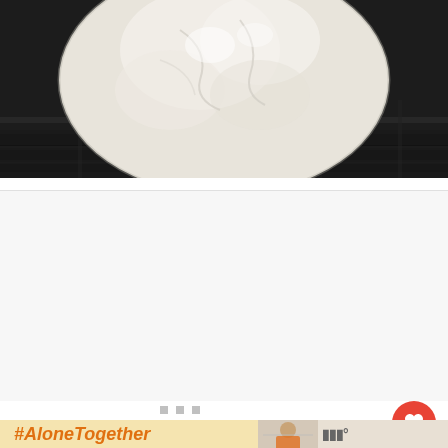[Figure (photo): Close-up of raw pizza dough or flatbread dough resting on dark black grill grates, showing white/cream colored dough with a textured, slightly wet surface]
[Figure (screenshot): Web page content area with gray dot navigation indicators, a red heart/like button showing 308 likes, a share button, and a 'What's Next' card showing 'Best Peach Recipes' with a thumbnail]
[Figure (photo): Advertisement banner with #AloneTogether hashtag in orange on yellow background, and a woman in kitchen on the right side with a close button and app logo]